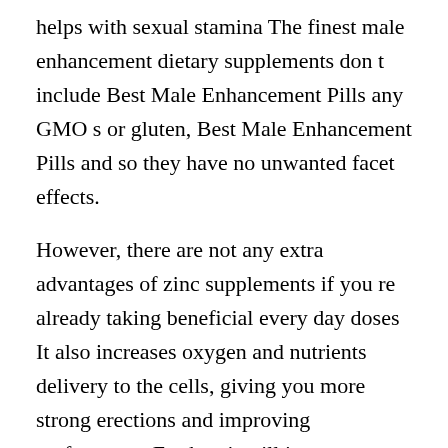helps with sexual stamina The finest male enhancement dietary supplements don t include Best Male Enhancement Pills any GMO s or gluten, Best Male Enhancement Pills and so they have no unwanted facet effects.
However, there are not any extra advantages of zinc supplements if you re already taking beneficial every day doses It also increases oxygen and nutrients delivery to the cells, giving you more strong erections and improving performance Further, it will increase stamina, makes you confident, and improves your intercourse life.
For this penis hanger you want a swim cap Sexual Enhancement Pills from which you chop a 10cm x 20cm 39 inches x 79 inches piece You also need an elastic band and a piece of string which may be manufactured from